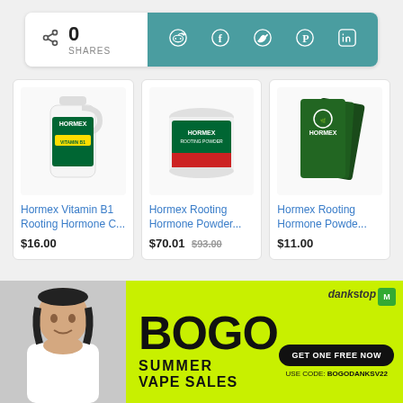[Figure (screenshot): Social share bar with 0 shares count on left (white background) and social icons (Reddit, Facebook, Twitter, Pinterest, LinkedIn) on right (teal background)]
[Figure (screenshot): Three product cards showing Hormex products: Hormex Vitamin B1 Rooting Hormone C... ($16.00), Hormex Rooting Hormone Powder... ($70.01 was $93.00), Hormex Rooting Hormone Powde... ($11.00)]
[Figure (screenshot): Advertisement banner: left side shows Asian man smiling, right side is lime green with BOGO Summer Vape Sales ad, DankStop logo, GET ONE FREE NOW button, USE CODE: BOGODANKSV22]